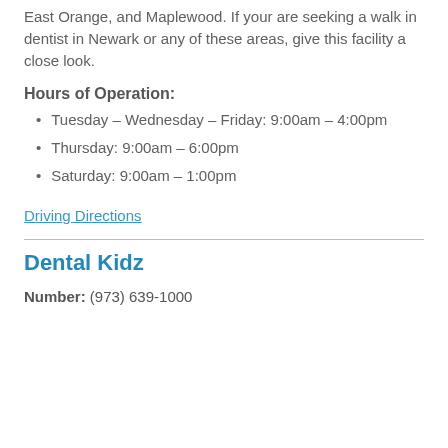East Orange, and Maplewood. If your are seeking a walk in dentist in Newark or any of these areas, give this facility a close look.
Hours of Operation:
Tuesday – Wednesday – Friday: 9:00am – 4:00pm
Thursday: 9:00am – 6:00pm
Saturday: 9:00am – 1:00pm
Driving Directions
Dental Kidz
Number: (973) 639-1000